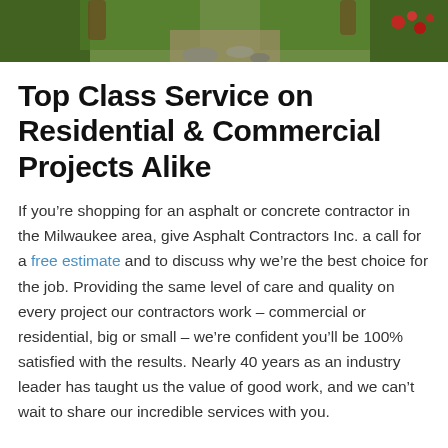[Figure (photo): Partial outdoor photo showing garden/landscaping with green plants, rocks, and red flowers at the top of the page]
Top Class Service on Residential & Commercial Projects Alike
If you’re shopping for an asphalt or concrete contractor in the Milwaukee area, give Asphalt Contractors Inc. a call for a free estimate and to discuss why we’re the best choice for the job. Providing the same level of care and quality on every project our contractors work – commercial or residential, big or small – we’re confident you’ll be 100% satisfied with the results. Nearly 40 years as an industry leader has taught us the value of good work, and we can’t wait to share our incredible services with you.